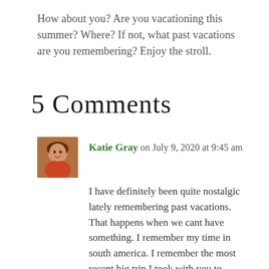How about you? Are you vacationing this summer? Where? If not, what past vacations are you remembering? Enjoy the stroll.
5 Comments
Katie Gray on July 9, 2020 at 9:45 am
I have definitely been quite nostalgic lately remembering past vacations. That happens when we cant have something. I remember my time in south america. I remember the most recent big trip I took with you to France. What exciting adventures. I can see it all in my mind amd I sure do love the pictures we have to